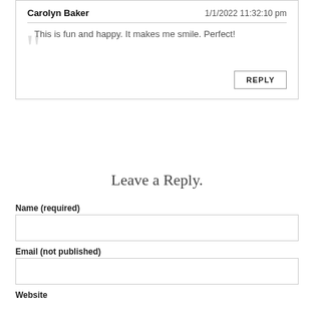Carolyn Baker — 1/1/2022 11:32:10 pm
This is fun and happy. It makes me smile. Perfect!
Leave a Reply.
Name (required)
Email (not published)
Website
Comments (required)